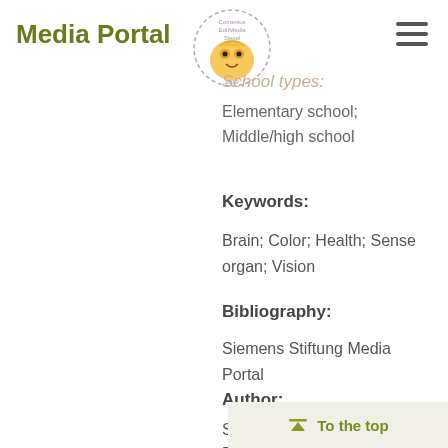Media Portal
[Figure (logo): Comenius EduMedia Siegel 2019 circular stamp with golden owl illustration]
School types:
Elementary school; Middle/high school
Keywords:
Brain; Color; Health; Sense organ; Vision
Bibliography:
Siemens Stiftung Media Portal
Author:
Stiftung Haus der kleinen Forscher, LOK...